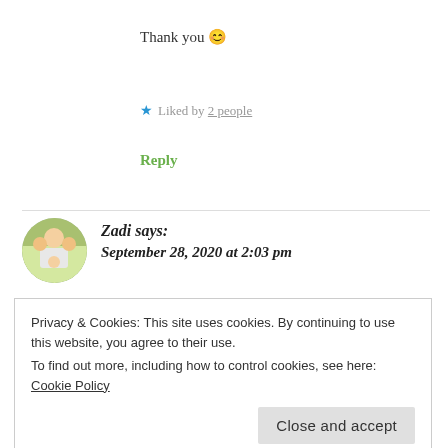Thank you 😊
★ Liked by 2 people
Reply
[Figure (photo): Circular avatar photo of a family with adults and a child, outdoors with greenery in background]
Zadi says: September 28, 2020 at 2:03 pm
Privacy & Cookies: This site uses cookies. By continuing to use this website, you agree to their use.
To find out more, including how to control cookies, see here: Cookie Policy
Close and accept